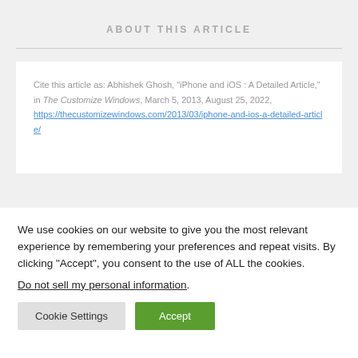ABOUT THIS ARTICLE
Cite this article as: Abhishek Ghosh, "iPhone and iOS : A Detailed Article," in The Customize Windows, March 5, 2013, August 25, 2022, https://thecustomizewindows.com/2013/03/iphone-and-ios-a-detailed-article/
We use cookies on our website to give you the most relevant experience by remembering your preferences and repeat visits. By clicking “Accept”, you consent to the use of ALL the cookies.
Do not sell my personal information.